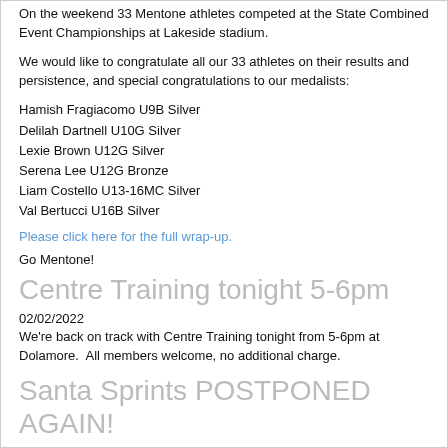On the weekend 33 Mentone athletes competed at the State Combined Event Championships at Lakeside stadium.
We would like to congratulate all our 33 athletes on their results and persistence, and special congratulations to our medalists:
Hamish Fragiacomo U9B Silver
Delilah Dartnell U10G Silver
Lexie Brown U12G Silver
Serena Lee U12G Bronze
Liam Costello U13-16MC Silver
Val Bertucci U16B Silver
Please click here for the full wrap-up.
Go Mentone!
Centre Training tonight 5-6pm
02/02/2022
We're back on track with Centre Training tonight from 5-6pm at Dolamore.  All members welcome, no additional charge.
Santa Sprints POSTPONED AGAIN!
02/01/2022